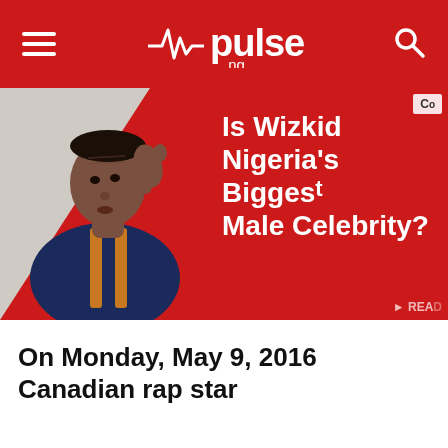pulse.ng
[Figure (photo): Banner image showing a young Nigerian male celebrity (Wizkid) on the left with a red background on the right, overlaid with white text reading 'Is Wizkid Nigeria's Biggest Male Celebrity?']
On Monday, May 9, 2016 Canadian rap star